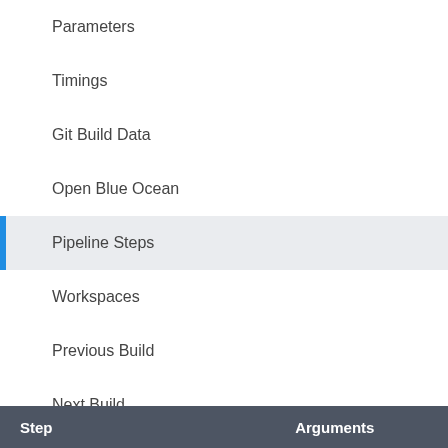Parameters
Timings
Git Build Data
Open Blue Ocean
Pipeline Steps
Workspaces
Previous Build
Next Build
| Step | Arguments |
| --- | --- |